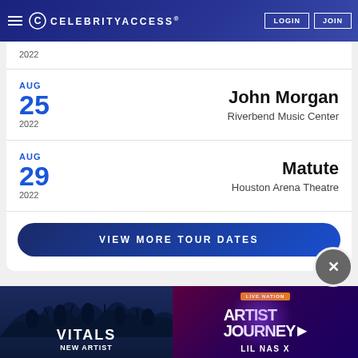CelebrityAccess
2022
AUG 25 2022 — John Morgan — Riverbend Music Center
AUG 29 2022 — Matute — Houston Arena Theatre
VIEW MORE TOUR DATES
[Figure (screenshot): Live Nation Artist Journey advertisement banner featuring Lil Nas X]
VITALS NEW ARTIST